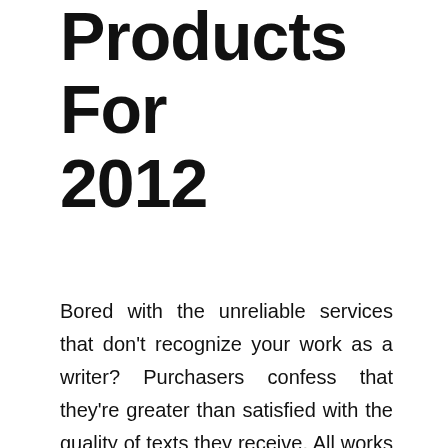Products For 2012
Bored with the unreliable services that don't recognize your work as a writer? Purchasers confess that they're greater than satisfied with the quality of texts they receive. All works aren't solely original but additionally well-written as a result of all writers are solely native speakers. Best Essays doesn't make use of non-native speakers as it could significantly influence the standard of labor and lead to a huge variety of grammar errors, misprints, spelling errors, and inaccuracies.